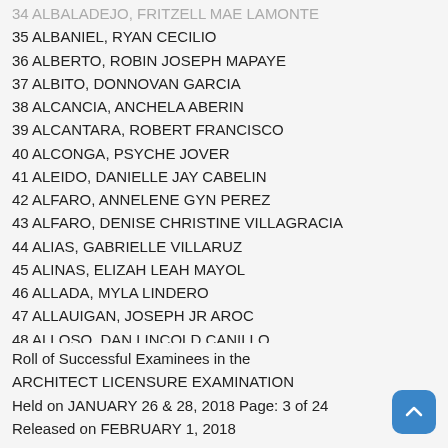34 ALBALADEJO, FRITZELL MAE LAMONTE
35 ALBANIEL, RYAN CECILIO
36 ALBERTO, ROBIN JOSEPH MAPAYE
37 ALBITO, DONNOVAN GARCIA
38 ALCANCIA, ANCHELA ABERIN
39 ALCANTARA, ROBERT FRANCISCO
40 ALCONGA, PSYCHE JOVER
41 ALEIDO, DANIELLE JAY CABELIN
42 ALFARO, ANNELENE GYN PEREZ
43 ALFARO, DENISE CHRISTINE VILLAGRACIA
44 ALIAS, GABRIELLE VILLARUZ
45 ALINAS, ELIZAH LEAH MAYOL
46 ALLADA, MYLA LINDERO
47 ALLAUIGAN, JOSEPH JR AROC
48 ALLOSO, DAN LINCOLD CANILLO
49 ALMENARIO, JEROME ALBASIN
50 ALMENDRAS, ROSA MAE MAGALLANES
Roll of Successful Examinees in the ARCHITECT LICENSURE EXAMINATION Held on JANUARY 26 & 28, 2018 Page: 3 of 24 Released on FEBRUARY 1, 2018